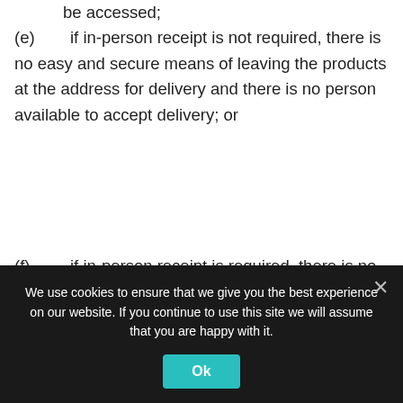be accessed;
(e)    if in-person receipt is not required, there is no easy and secure means of leaving the products at the address for delivery and there is no person available to accept delivery; or
(f)    if in-person receipt is required, there is no person available at the address for delivery to accept delivery and provide a signature.
Returns policy
We use cookies to ensure that we give you the best experience on our website. If you continue to use this site we will assume that you are happy with it.